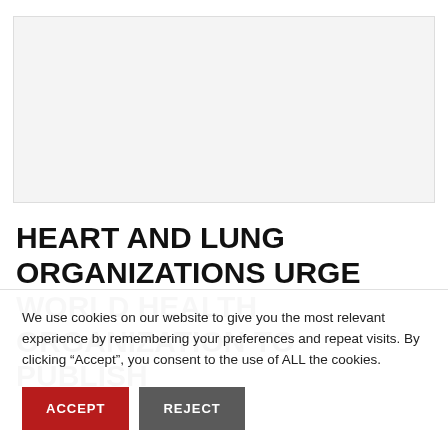[Figure (photo): Placeholder image area with light gray background, likely a photo related to heart and lung health organizations.]
HEART AND LUNG ORGANIZATIONS URGE WORLD HEALTH ORGANIZATION TO PUBLISH
We use cookies on our website to give you the most relevant experience by remembering your preferences and repeat visits. By clicking “Accept”, you consent to the use of ALL the cookies.
ACCEPT
REJECT